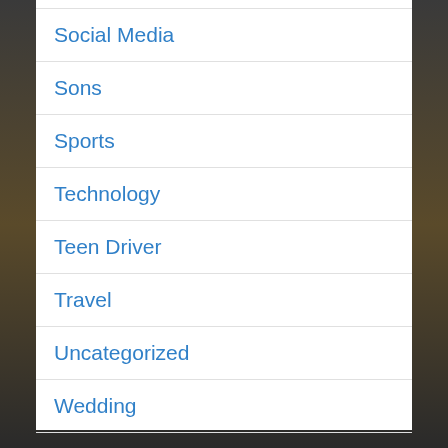Social Media
Sons
Sports
Technology
Teen Driver
Travel
Uncategorized
Wedding
Wives
Work